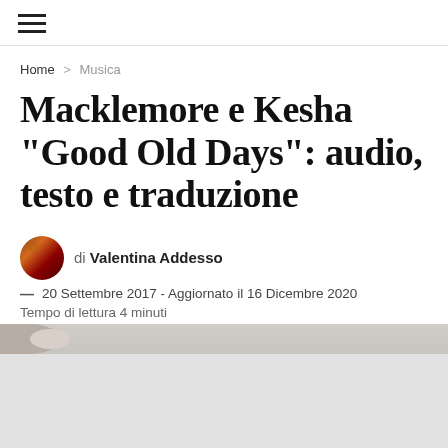☰ (hamburger menu icon)
Home > Musica
Macklemore e Kesha "Good Old Days": audio, testo e traduzione
di Valentina Addesso
— 20 Settembre 2017 - Aggiornato il 16 Dicembre 2020
Tempo di lettura 4 minuti
[Figure (photo): Partial image visible at bottom of article content area]
PUBBLICITA'